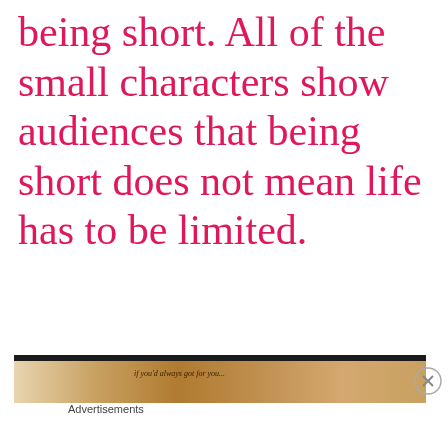being short. All of the small characters show audiences that being short does not mean life has to be limited.
[Figure (photo): A partial image strip showing a warm-toned scene, appearing to be a still from a video or article, with a horizontal brown/tan color palette.]
Advertisements
[Figure (screenshot): DuckDuckGo advertisement banner: 'Search, browse, and email with more privacy. All in One Free App' on an orange background with DuckDuckGo logo on dark background.]